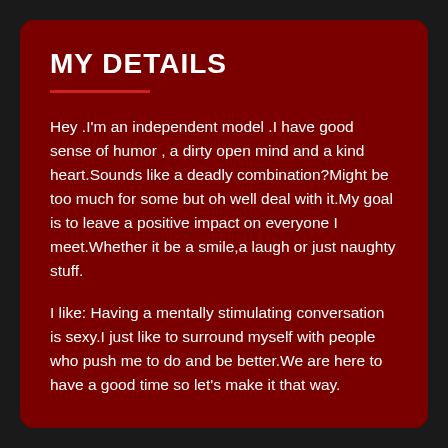MY DETAILS
Hey .I'm an independent model .I have good sense of humor , a dirty open mind and a kind heart.Sounds like a deadly combination?Might be too much for some but oh well deal with it.My goal is to leave a positive impact on everyone I meet.Whether it be a smile,a laugh or just naughty stuff.
I like: Having a mentally stimulating conversation is sexy.I just like to surround myself with people who push me to do and be better.We are here to have a good time so let's make it that way.